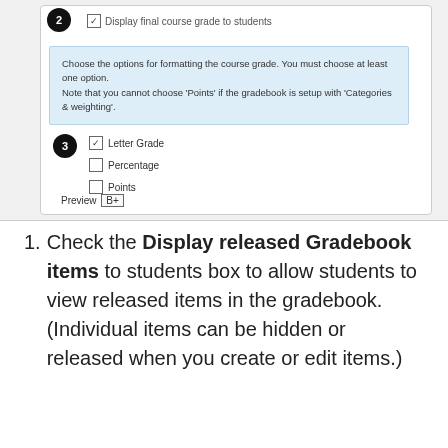[Figure (screenshot): Screenshot of a gradebook settings panel showing a checkbox 'Display final course grade to students', an info box about formatting options, and step 3 with Letter Grade checked, Percentage and Points unchecked, with a preview showing 'B+'.]
Check the Display released Gradebook items to students box to allow students to view released items in the gradebook. (Individual items can be hidden or released when you create or edit items.)